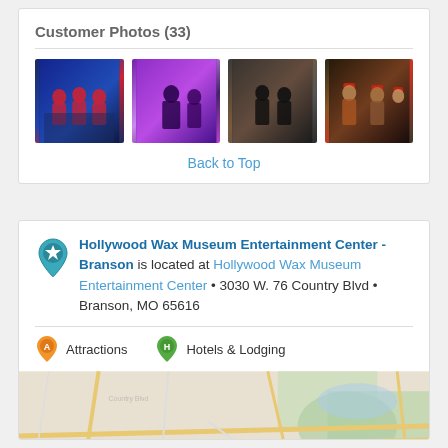Customer Photos (33)
[Figure (photo): Four customer photos from Hollywood Wax Museum: 1) group in blue/red, 2) purple-lit scene, 3) dark indoor scene, 4) group in red hats]
Back to Top
Hollywood Wax Museum Entertainment Center - Branson is located at Hollywood Wax Museum Entertainment Center • 3030 W. 76 Country Blvd • Branson, MO 65616
Attractions
Hotels & Lodging
[Figure (map): Street map of Branson, MO area with roads and terrain, showing location of Hollywood Wax Museum Entertainment Center with a View Map link]